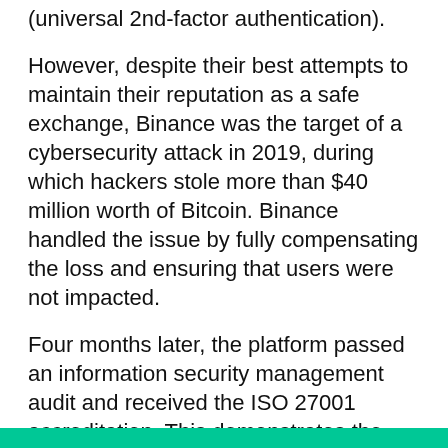(universal 2nd-factor authentication).
However, despite their best attempts to maintain their reputation as a safe exchange, Binance was the target of a cybersecurity attack in 2019, during which hackers stole more than $40 million worth of Bitcoin. Binance handled the issue by fully compensating the loss and ensuring that users were not impacted.
Four months later, the platform passed an information security management audit and received the ISO 27001 accreditation. This demonstrates the commitment of Binance to ensure that their users' data is protected on the platform.